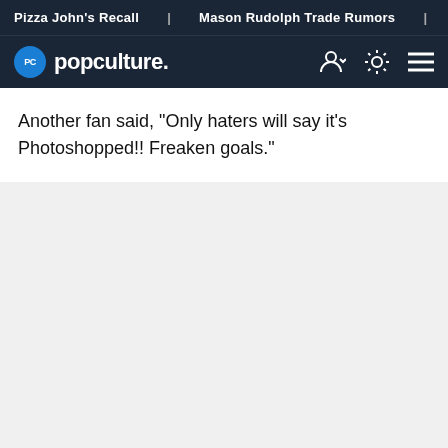Pizza John's Recall | Mason Rudolph Trade Rumors | Nikki A
popculture.
Another fan said, "Only haters will say it's Photoshopped!! Freaken goals."